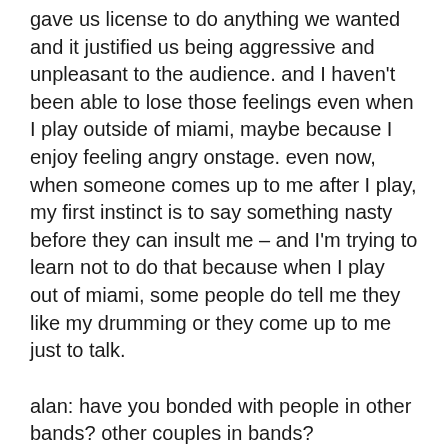gave us license to do anything we wanted and it justified us being aggressive and unpleasant to the audience. and I haven't been able to lose those feelings even when I play outside of miami, maybe because I enjoy feeling angry onstage. even now, when someone comes up to me after I play, my first instinct is to say something nasty before they can insult me – and I'm trying to learn not to do that because when I play out of miami, some people do tell me they like my drumming or they come up to me just to talk.
alan: have you bonded with people in other bands? other couples in bands? adris: I'm a shy person, but it's usually easier for me to talk to other drummers. I'm grateful that drummers in the bands I've toured with have been really supportive as far as helping me out with problems or giving me advice. I usually have so much anxiety over the condition of my drums when I'm on tour that to an extent I was...